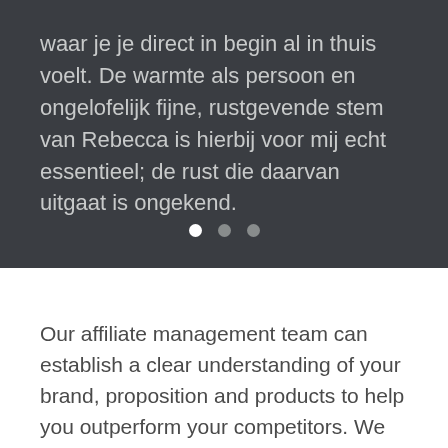waar je je direct in begin al in thuis voelt. De warmte als persoon en ongelofelijk fijne, rustgevende stem van Rebecca is hierbij voor mij echt essentieel; de rust die daarvan uitgaat is ongekend.
[Figure (other): Carousel navigation dots: one white (active) dot and two grey (inactive) dots]
Our affiliate management team can establish a clear understanding of your brand, proposition and products to help you outperform your competitors. We possess the